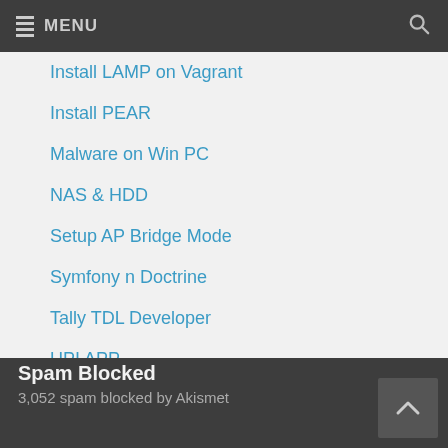MENU
Install LAMP on Vagrant
Install PEAR
Malware on Win PC
NAS & HDD
Setup AP Bridge Mode
Symfony n Doctrine
Tally TDL Developer
UPI APP
using Web Browser Apps
Google Advt.
Spam Blocked